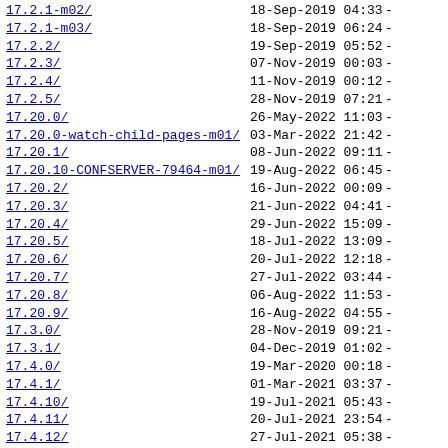| Name | Date | Size |
| --- | --- | --- |
| 17.2.1-m02/ | 18-Sep-2019 04:33 | - |
| 17.2.1-m03/ | 18-Sep-2019 06:24 | - |
| 17.2.2/ | 19-Sep-2019 05:52 | - |
| 17.2.3/ | 07-Nov-2019 00:03 | - |
| 17.2.4/ | 11-Nov-2019 00:12 | - |
| 17.2.5/ | 28-Nov-2019 07:21 | - |
| 17.20.0/ | 26-May-2022 11:03 | - |
| 17.20.0-watch-child-pages-m01/ | 03-Mar-2022 21:42 | - |
| 17.20.1/ | 08-Jun-2022 09:11 | - |
| 17.20.10-CONFSERVER-79464-m01/ | 19-Aug-2022 06:45 | - |
| 17.20.2/ | 16-Jun-2022 00:09 | - |
| 17.20.3/ | 21-Jun-2022 04:41 | - |
| 17.20.4/ | 29-Jun-2022 15:09 | - |
| 17.20.5/ | 18-Jul-2022 13:09 | - |
| 17.20.6/ | 20-Jul-2022 12:18 | - |
| 17.20.7/ | 27-Jul-2022 03:44 | - |
| 17.20.8/ | 06-Aug-2022 11:53 | - |
| 17.20.9/ | 16-Aug-2022 04:55 | - |
| 17.3.0/ | 28-Nov-2019 09:21 | - |
| 17.3.1/ | 04-Dec-2019 01:02 | - |
| 17.4.0/ | 19-Mar-2020 00:18 | - |
| 17.4.1/ | 01-Mar-2021 03:37 | - |
| 17.4.10/ | 19-Jul-2021 05:43 | - |
| 17.4.11/ | 20-Jul-2021 23:54 | - |
| 17.4.12/ | 27-Jul-2021 05:38 | - |
| 17.4.13/ | 29-Jul-2021 06:24 | - |
| 17.4.14/ | 30-Jul-2021 00:51 | - |
| 17.4.15/ | 25-Nov-2021 05:56 | - |
| 17.4.16/ | 13-Dec-2021 12:39 | - |
| 17.4.17/ | 20-Dec-2021 02:23 | - |